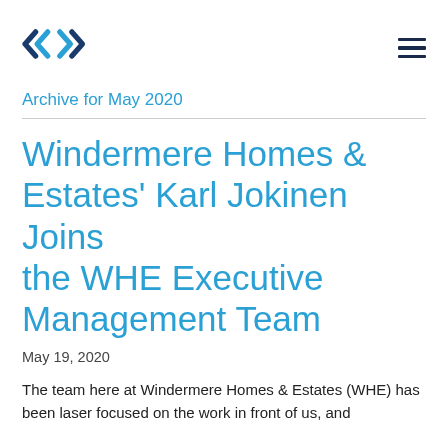Windermere Homes & Estates logo and navigation menu
Archive for May 2020
Windermere Homes & Estates' Karl Jokinen Joins the WHE Executive Management Team
May 19, 2020
The team here at Windermere Homes & Estates (WHE) has been laser focused on the work in front of us, and